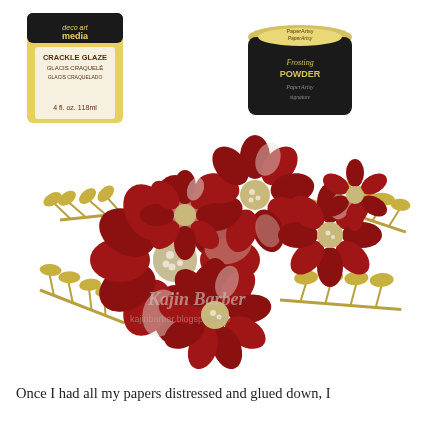[Figure (photo): A craft/DIY photograph showing red paper flowers with silver frosting powder and gold glittered leaf sprigs arranged on a white background. In the upper portion, two craft supply products are visible: a bottle of DecoArt Media Crackle Glaze (4 fl oz / 118ml) and a black container of PaperArtsy Frosting Powder. The flowers are red with white/silver crackle glaze effect on the petals and centers. Gold metallic leaf branches are arranged around the flowers. A watermark reading 'Kajin Sarber' and a blogspot.com URL is visible in the lower portion of the image.]
Once I had all my papers distressed and glued down, I